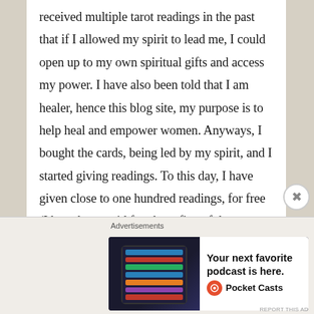received multiple tarot readings in the past that if I allowed my spirit to lead me, I could open up to my own spiritual gifts and access my power. I have also been told that I am healer, hence this blog site, my purpose is to help heal and empower women. Anyways, I bought the cards, being led by my spirit, and I started giving readings. To this day, I have given close to one hundred readings, for free (I have been paid for about five of the readings). I have felt tremendous joy being able to provide clarity and empowerment to people on the receiving end of my readings.
[Figure (screenshot): Advertisement banner for Pocket Casts podcast app. Shows a dark phone screen with colorful app rows on the left, and the text 'Your next favorite podcast is here.' with the Pocket Casts logo on the right.]